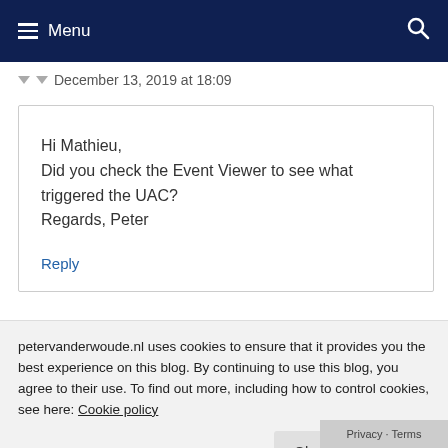Menu
December 13, 2019 at 18:09
Hi Mathieu,
Did you check the Event Viewer to see what triggered the UAC?
Regards, Peter
Reply
petervanderwoude.nl uses cookies to ensure that it provides you the best experience on this blog. By continuing to use this blog, you agree to their use. To find out more, including how to control cookies, see here: Cookie policy
Close and accept
Privacy · Terms